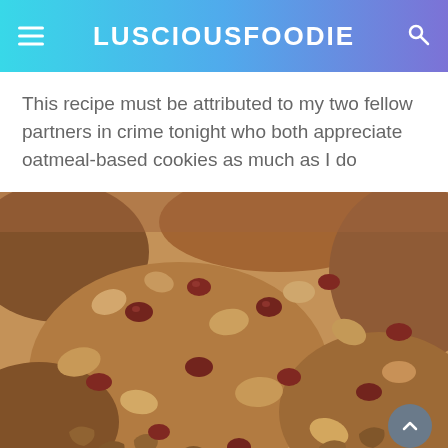LUSCIOUSFOODIE
This recipe must be attributed to my two fellow partners in crime tonight who both appreciate oatmeal-based cookies as much as I do
[Figure (photo): Close-up photograph of oatmeal cookies with dried cranberries and pecans]